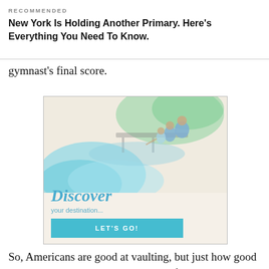RECOMMENDED
New York Is Holding Another Primary. Here’s Everything You Need To Know.
gymnast’s final score.
[Figure (illustration): Travel advertisement showing a family near water with watercolor-style background, text reading 'Discover your destination...' and a teal button labeled 'LET'S GO!']
So, Americans are good at vaulting, but just how good are they at eking out the best scores for particular